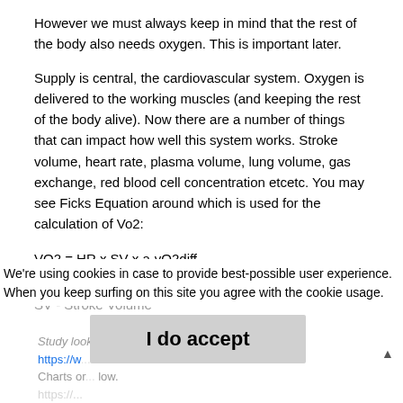However we must always keep in mind that the rest of the body also needs oxygen. This is important later.
Supply is central, the cardiovascular system. Oxygen is delivered to the working muscles (and keeping the rest of the body alive). Now there are a number of things that can impact how well this system works. Stroke volume, heart rate, plasma volume, lung volume, gas exchange, red blood cell concentration etcetc. You may see Ficks Equation around which is used for the calculation of Vo2:
HR - Heart Rate
SV - Stroke Volume
We're using cookies in case to provide best-possible user experience. When you keep surfing on this site you agree with the cookie usage.
I do accept
Study looking at differing measures of Vo2
https://w...
Charts or... low.
https://...